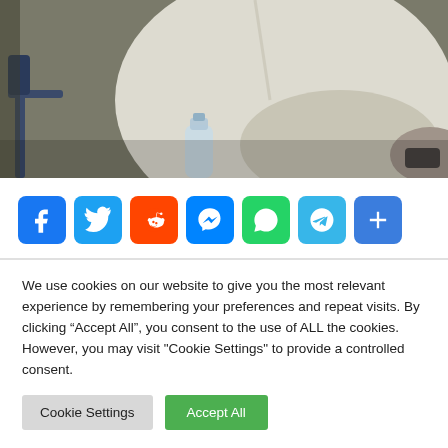[Figure (photo): A person wearing a white garment, upper torso and arm visible, with a microphone stand on the left and a small water bottle at the bottom center. Background is blurred/muted tones.]
[Figure (infographic): Social media share buttons row: Facebook (blue), Twitter (blue), Reddit (orange-red), Messenger (blue), WhatsApp (green), Telegram (cyan), and a generic Share (+) button (blue).]
We use cookies on our website to give you the most relevant experience by remembering your preferences and repeat visits. By clicking “Accept All”, you consent to the use of ALL the cookies. However, you may visit "Cookie Settings" to provide a controlled consent.
Cookie Settings
Accept All